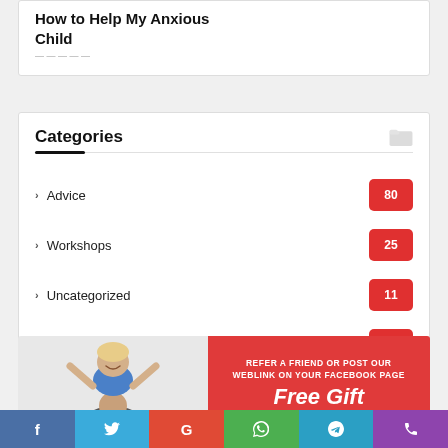How to Help My Anxious Child
Categories
Advice 80
Workshops 25
Uncategorized 11
Online Shop 5
[Figure (other): Banner with child photo on left and red panel on right reading 'REFER A FRIEND OR POST OUR WEBLINK ON YOUR FACEBOOK PAGE' and 'Free Gift']
f  Twitter  G  WhatsApp  Telegram  Phone